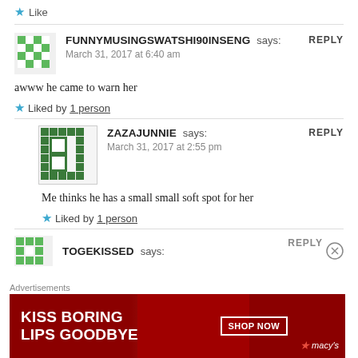Like
FUNNYMUSINGSWATSHI90INSENG says: March 31, 2017 at 6:40 am REPLY
awww he came to warn her
Liked by 1 person
ZAZAJUNNIE says: March 31, 2017 at 2:55 pm REPLY
Me thinks he has a small small soft spot for her
Liked by 1 person
TOGEKISSED says:
Advertisements
[Figure (illustration): Macy's advertisement: KISS BORING LIPS GOODBYE with SHOP NOW button and Macy's logo]